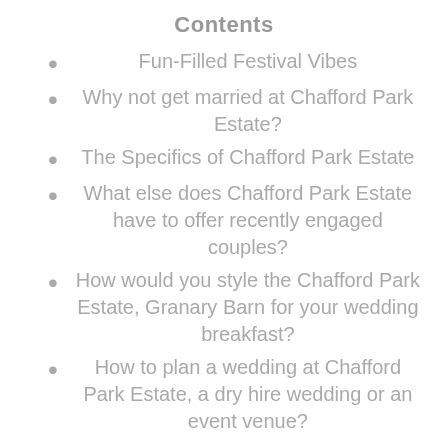Contents
Fun-Filled Festival Vibes
Why not get married at Chafford Park Estate?
The Specifics of Chafford Park Estate
What else does Chafford Park Estate have to offer recently engaged couples?
How would you style the Chafford Park Estate, Granary Barn for your wedding breakfast?
How to plan a wedding at Chafford Park Estate, a dry hire wedding or an event venue?